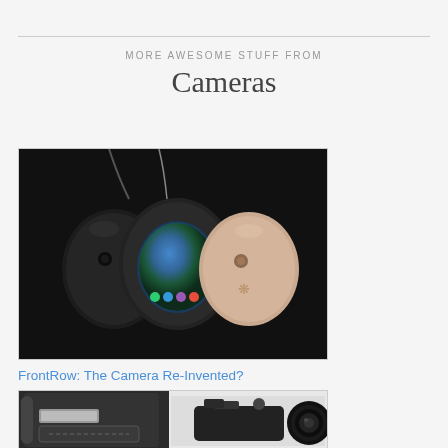MORE AWESOME STUFF FROM
Cameras
[Figure (photo): Three FrontRow wearable camera pendants on dark background — a black one on the left, a center one with a round display showing a waterfall scene and app icons, and a rose-gold one on the right, all on chains]
FrontRow: The Camera Re-Invented?
[Figure (photo): Left half shows a black camera backpack with silver label and zipper pocket; right half shows a mirrorless camera with large telephoto lens]